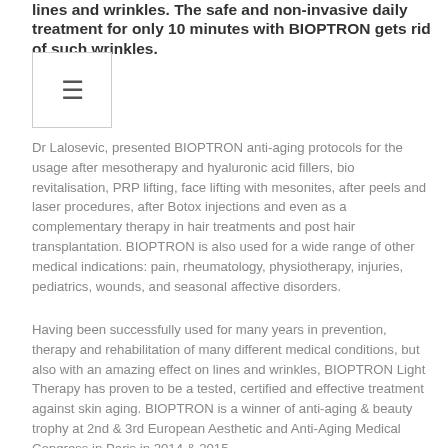lines and wrinkles. The safe and non-invasive daily treatment for only 10 minutes with BIOPTRON gets rid of such wrinkles.
Dr Lalosevic, presented BIOPTRON anti-aging protocols for the usage after mesotherapy and hyaluronic acid fillers, bio revitalisation, PRP lifting, face lifting with mesonites, after peels and laser procedures, after Botox injections and even as a complementary therapy in hair treatments and post hair transplantation. BIOPTRON is also used for a wide range of other medical indications: pain, rheumatology, physiotherapy, injuries, pediatrics, wounds, and seasonal affective disorders.
Having been successfully used for many years in prevention, therapy and rehabilitation of many different medical conditions, but also with an amazing effect on lines and wrinkles, BIOPTRON Light Therapy has proven to be a tested, certified and effective treatment against skin aging. BIOPTRON is a winner of anti-aging & beauty trophy at 2nd & 3rd European Aesthetic and Anti-Aging Medical Congress in Paris in 2014 & 2015.